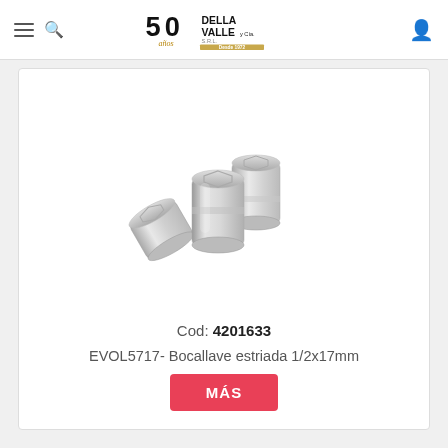Della Valle y Cia. S.R.L. - 50 años desde 1972
[Figure (photo): Three chrome socket wrenches (bocallaves) arranged together, showing hexagonal drive ends]
Cod: 4201633
EVOL5717- Bocallave estriada 1/2x17mm
MÁS